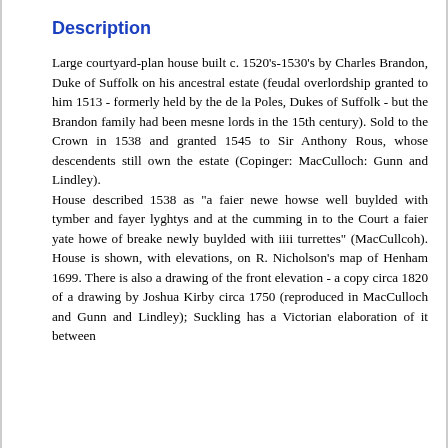Description
Large courtyard-plan house built c. 1520's-1530's by Charles Brandon, Duke of Suffolk on his ancestral estate (feudal overlordship granted to him 1513 - formerly held by the de la Poles, Dukes of Suffolk - but the Brandon family had been mesne lords in the 15th century). Sold to the Crown in 1538 and granted 1545 to Sir Anthony Rous, whose descendents still own the estate (Copinger: MacCulloch: Gunn and Lindley). House described 1538 as "a faier newe howse well buylded with tymber and fayer lyghtys and at the cumming in to the Court a faier yate howe of breake newly buylded with iiii turrettes" (MacCullcoh). House is shown, with elevations, on R. Nicholson's map of Henham 1699. There is also a drawing of the front elevation - a copy circa 1820 of a drawing by Joshua Kirby circa 1750 (reproduced in MacCulloch and Gunn and Lindley); Suckling has a Victorian elaboration of it between